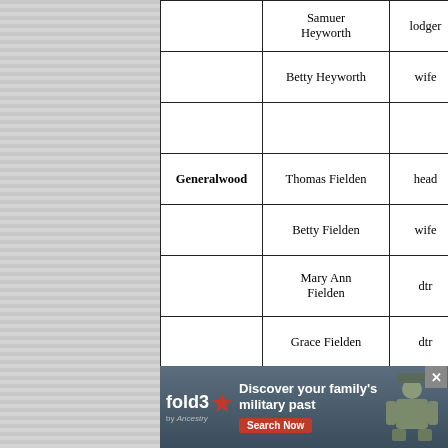| Place | Name | Relationship | Marital Status |
| --- | --- | --- | --- |
|  | Samuer Heyworth | lodger | m |
|  | Betty Heyworth | wife | m |
|  |  |  |  |
| Generalwood | Thomas Fielden | head | m |
|  | Betty Fielden | wife | m |
|  | Mary Ann Fielden | dtr |  |
|  | Grace Fielden | dtr |  |
|  | John Fielden | son |  |
|  | James Fielden | son |  |
|  | William Fielden | son |  |
|  | Sarah Greenwood | dtr | u |
[Figure (infographic): Fold3 by Ancestry advertisement banner: 'Discover your family's military past' with Search Now button and soldier illustration]